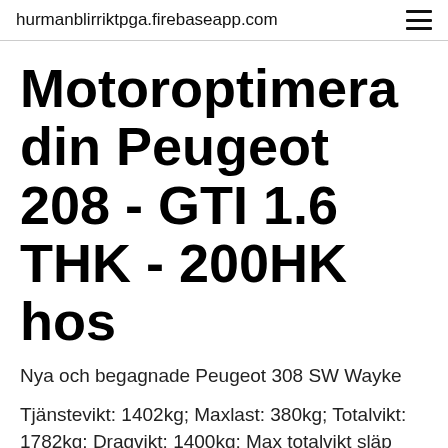hurmanblirriktpga.firebaseapp.com
Motoroptimera din Peugeot 208 - GTI 1.6 THK - 200HK hos
Nya och begagnade Peugeot 308 SW Wayke
Tjänstevikt: 1402kg; Maxlast: 380kg; Totalvikt: 1782kg; Dragvikt: 1400kg; Max totalvikt släp Peugeot 308 SW GT 2.0 BlueHDi 180hk Automat